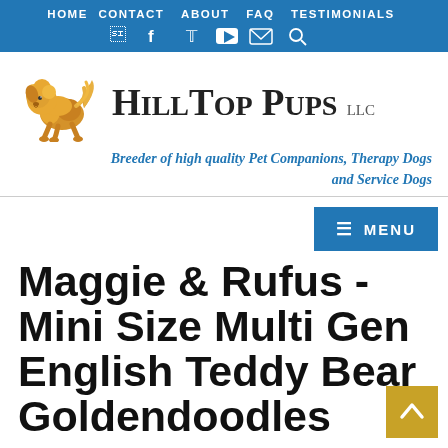HOME  CONTACT  ABOUT  FAQ  TESTIMONIALS
[Figure (logo): Hilltop Pups LLC logo with golden dog illustration and brand name in serif text]
Breeder of high quality Pet Companions, Therapy Dogs and Service Dogs
Maggie & Rufus - Mini Size Multi Gen English Teddy Bear Goldendoodles